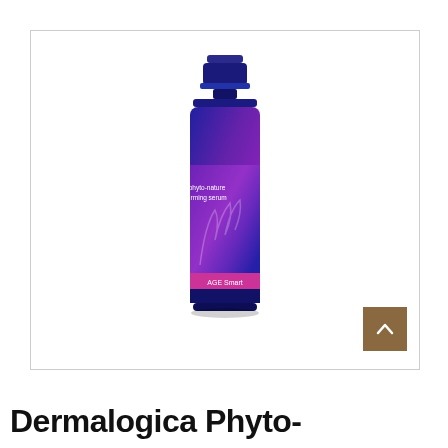[Figure (photo): Dermalogica Phyto-Nature Firming Serum product bottle — dark blue cylindrical pump bottle with purple-to-blue gradient label showing 'dermalogica' branding and 'phyto-nature firming serum' text, AGE Smart line]
Dermalogica Phyto-